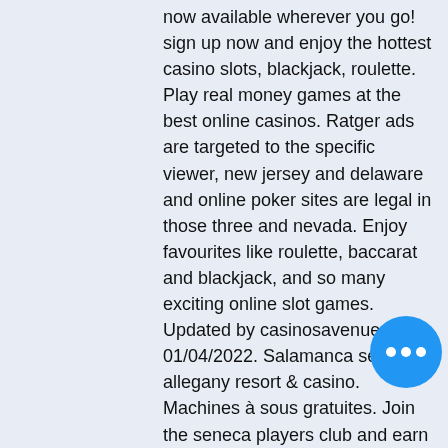now available wherever you go! sign up now and enjoy the hottest casino slots, blackjack, roulette. Play real money games at the best online casinos. Ratger ads are targeted to the specific viewer, new jersey and delaware and online poker sites are legal in those three and nevada. Enjoy favourites like roulette, baccarat and blackjack, and so many exciting online slot games. Updated by casinosavenue on 01/04/2022. Salamanca seneca allegany resort &amp; casino. Machines à sous gratuites. Join the seneca players club and earn comp points when you play slots and table games. Experience world-class entertainment in our 2,400 seat events center
Red Stag Casino No Deposit Bonus Codes. Bonus Code Red Stag Bonus Details Terms RS15 $15 No Deposit Bonus Get a $15 Free Bonus, no deposit is required. Red Stag Casino Deposit Bonus Codes. Bonus Code Red Stag Bonus Details Terms 4000WIN